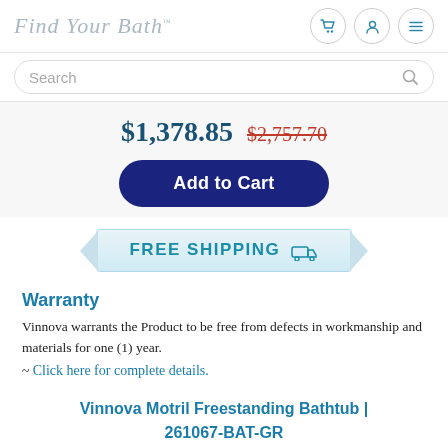Find Your Bath
Search
$1,378.85  $2,757.70
Add to Cart
FREE SHIPPING
Warranty
Vinnova warrants the Product to be free from defects in workmanship and materials for one (1) year.
~ Click here for complete details.
Vinnova Motril Freestanding Bathtub | 261067-BAT-GR